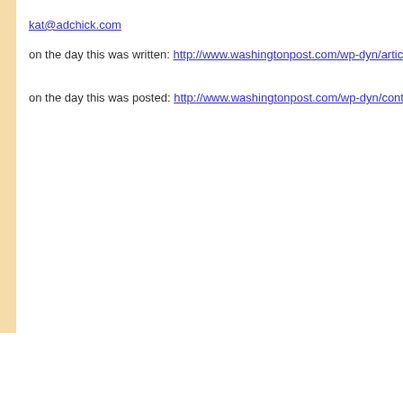kat@adchick.com
on the day this was written: http://www.washingtonpost.com/wp-dyn/articles/A8690-2005Ap
on the day this was posted: http://www.washingtonpost.com/wp-dyn/content/article/2005/12